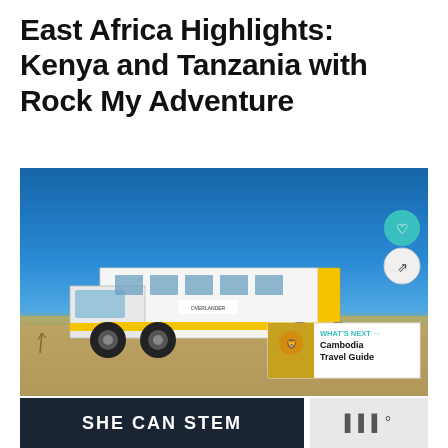East Africa Highlights: Kenya and Tanzania with Rock My Adventure
[Figure (photo): A large white overland adventure truck with yellow accents parked on a dry desert landscape under a clear blue sky. Two UI overlay buttons visible: a heart/favorite button and a share button. A 'What's Next' card shows a lion image with text 'Cambodia Travel Guide'.]
WHAT'S NEXT → Cambodia Travel Guide
SHE CAN STEM